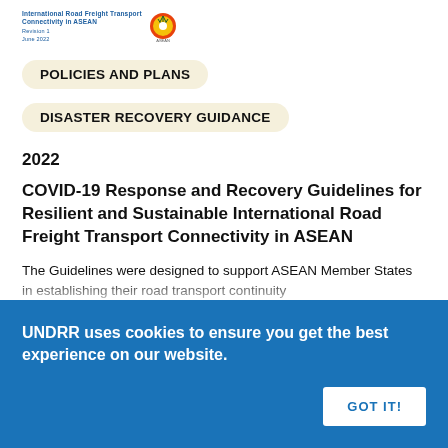[Figure (logo): UNDRR publication logo with text about International Road Freight Transport Connectivity in ASEAN and ASEAN emblem]
POLICIES AND PLANS
DISASTER RECOVERY GUIDANCE
2022
COVID-19 Response and Recovery Guidelines for Resilient and Sustainable International Road Freight Transport Connectivity in ASEAN
The Guidelines were designed to support ASEAN Member States in establishing their road transport continuity...
UNDRR uses cookies to ensure you get the best experience on our website.
GOT IT!